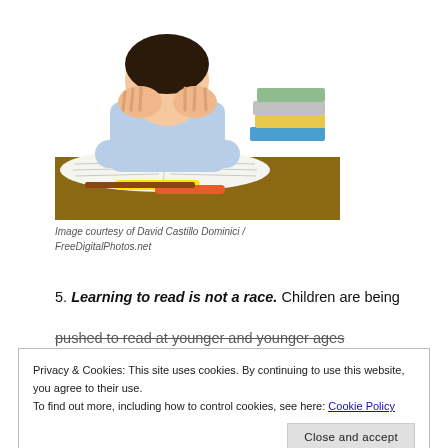[Figure (photo): A child sitting at a desk with open books, pens and highlighters, with their head buried in their hands, looking stressed. Stack of books visible to the right.]
Image courtesy of David Castillo Dominici / FreeDigitalPhotos.net
5. Learning to read is not a race. Children are being pushed to read at younger and younger ages...
Privacy & Cookies: This site uses cookies. By continuing to use this website, you agree to their use.
To find out more, including how to control cookies, see here: Cookie Policy
time and let them take the lead. At first, I was so